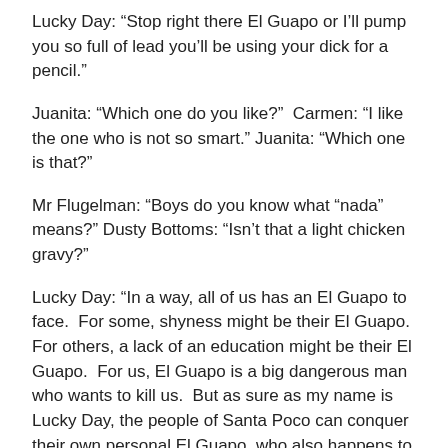Lucky Day: “Stop right there El Guapo or I’ll pump you so full of lead you’ll be using your dick for a pencil.”
Juanita: “Which one do you like?”  Carmen: “I like the one who is not so smart.” Juanita: “Which one is that?”
Mr Flugelman: “Boys do you know what “nada” means?” Dusty Bottoms: “Isn’t that a light chicken gravy?”
Lucky Day: “In a way, all of us has an El Guapo to face.  For some, shyness might be their El Guapo.  For others, a lack of an education might be their El Guapo.  For us, El Guapo is a big dangerous man who wants to kill us.  But as sure as my name is Lucky Day, the people of Santa Poco can conquer their own personal El Guapo, who also happens to be the actual El Guapo.”